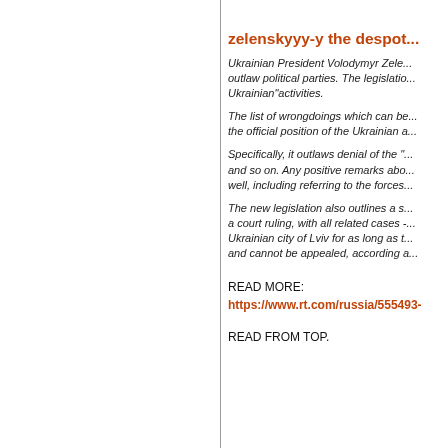zelenskyyy-y the despot...
Ukrainian President Volodymyr Zele... outlaw political parties. The legislatio... Ukrainian"activities.
The list of wrongdoings which can be... the official position of the Ukrainian a...
Specifically, it outlaws denial of the "... and so on. Any positive remarks abo... well, including referring to the forces...
The new legislation also outlines a s... a court ruling, with all related cases -... Ukrainian city of Lviv for as long as t... and cannot be appealed, according a...
READ MORE:
https://www.rt.com/russia/555493-
READ FROM TOP.